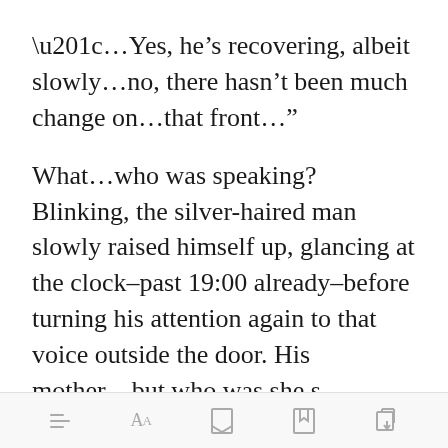“…Yes, he’s recovering, albeit slowly…no, there hasn’t been much change on…that front…”
What…who was speaking? Blinking, the silver-haired man slowly raised himself up, glancing at the clock–past 19:00 already–before turning his attention again to that voice outside the door. His mother…but who was she speaking to?
[toolbar with menu, font, bookmark, share icons]